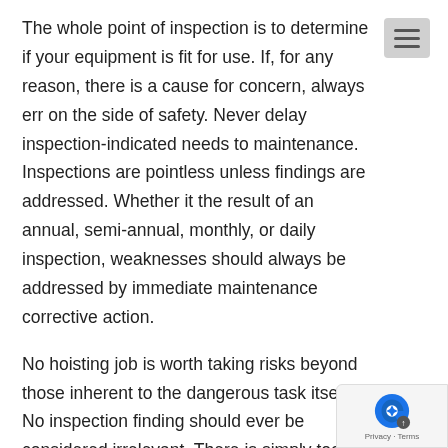The whole point of inspection is to determine if your equipment is fit for use. If, for any reason, there is a cause for concern, always err on the side of safety. Never delay inspection-indicated needs to maintenance. Inspections are pointless unless findings are addressed. Whether it the result of an annual, semi-annual, monthly, or daily inspection, weaknesses should always be addressed by immediate maintenance corrective action.
No hoisting job is worth taking risks beyond those inherent to the dangerous task itself. No inspection finding should ever be considered irrelevant. There is simply too much at stake.
The Massachusetts Contractors Academy offers a complete array of hoisting license courses, all of which focus in way or another on safety. Contact us today to see how